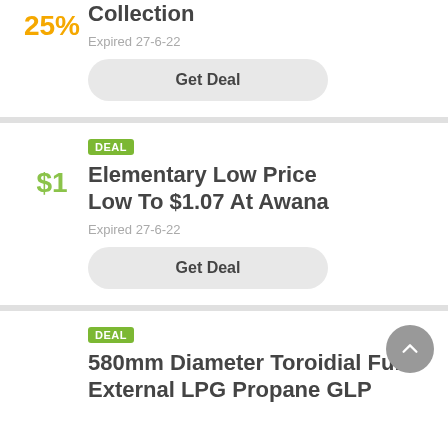25%
Collection
Expired 27-6-22
Get Deal
DEAL
Elementary Low Price Low To $1.07 At Awana
$1
Expired 27-6-22
Get Deal
DEAL
580mm Diameter Toroidial Full External LPG Propane GLP